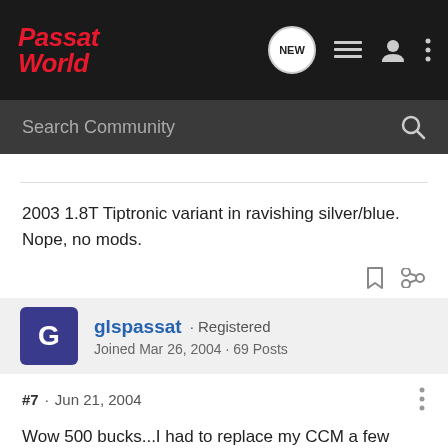Passat World - forum header with Search Community bar
2003 1.8T Tiptronic variant in ravishing silver/blue. Nope, no mods.
glspassat · Registered
Joined Mar 26, 2004 · 69 Posts
#7 · Jun 21, 2004
Wow 500 bucks...I had to replace my CCM a few months ago....fo[...]e for 100 buc[...]